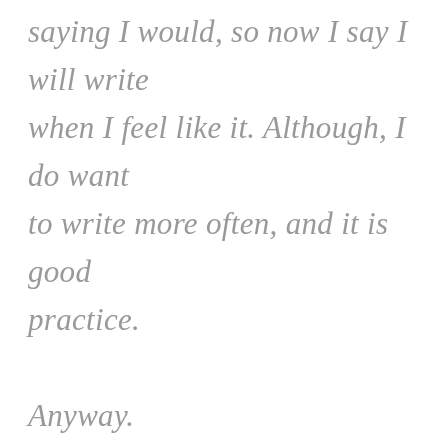saying I would, so now I say I will write when I feel like it. Although, I do want to write more often, and it is good practice.

Anyway.

At the moment, I am in the middle of re-design this blog, and that might take a while as I am a busy bee. I am a full-time student at the University of the